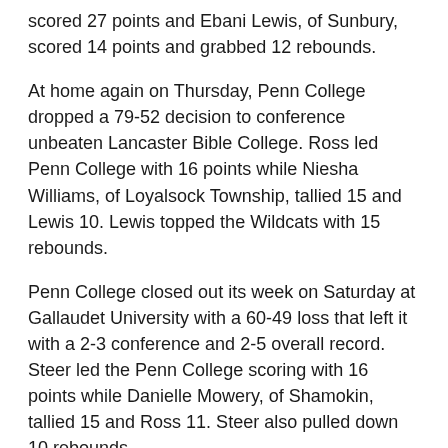scored 27 points and Ebani Lewis, of Sunbury, scored 14 points and grabbed 12 rebounds.
At home again on Thursday, Penn College dropped a 79-52 decision to conference unbeaten Lancaster Bible College. Ross led Penn College with 16 points while Niesha Williams, of Loyalsock Township, tallied 15 and Lewis 10. Lewis topped the Wildcats with 15 rebounds.
Penn College closed out its week on Saturday at Gallaudet University with a 60-49 loss that left it with a 2-3 conference and 2-5 overall record. Steer led the Penn College scoring with 16 points while Danielle Mowery, of Shamokin, tallied 15 and Ross 11. Steer also pulled down 10 rebounds.
Through Saturday, the NEAC South Division standings have Lancaster Bible 4-0, St. Elizabeth 4-1, Bryn Athyn 3-1, Gallaudet 3-2, Penn State Abington 2-2, Penn College 2-3, Wilson College 0-4 and Penn State Berks 0-5. SUNY Poly